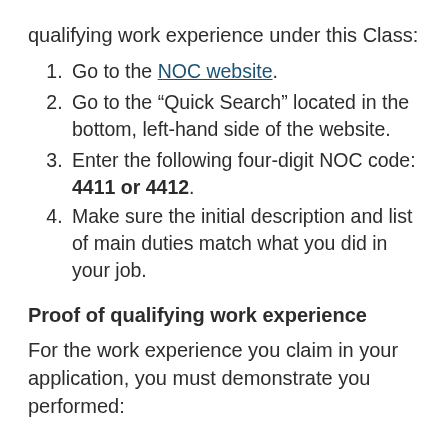qualifying work experience under this Class:
1. Go to the NOC website.
2. Go to the “Quick Search” located in the bottom, left-hand side of the website.
3. Enter the following four-digit NOC code: 4411 or 4412.
4. Make sure the initial description and list of main duties match what you did in your job.
Proof of qualifying work experience
For the work experience you claim in your application, you must demonstrate you performed: